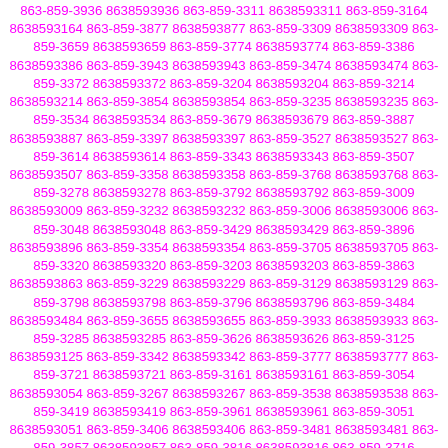863-859-3936 8638593936 863-859-3311 8638593311 863-859-3164 8638593164 863-859-3877 8638593877 863-859-3309 8638593309 863-859-3659 8638593659 863-859-3774 8638593774 863-859-3386 8638593386 863-859-3943 8638593943 863-859-3474 8638593474 863-859-3372 8638593372 863-859-3204 8638593204 863-859-3214 8638593214 863-859-3854 8638593854 863-859-3235 8638593235 863-859-3534 8638593534 863-859-3679 8638593679 863-859-3887 8638593887 863-859-3397 8638593397 863-859-3527 8638593527 863-859-3614 8638593614 863-859-3343 8638593343 863-859-3507 8638593507 863-859-3358 8638593358 863-859-3768 8638593768 863-859-3278 8638593278 863-859-3792 8638593792 863-859-3009 8638593009 863-859-3232 8638593232 863-859-3006 8638593006 863-859-3048 8638593048 863-859-3429 8638593429 863-859-3896 8638593896 863-859-3354 8638593354 863-859-3705 8638593705 863-859-3320 8638593320 863-859-3203 8638593203 863-859-3863 8638593863 863-859-3229 8638593229 863-859-3129 8638593129 863-859-3798 8638593798 863-859-3796 8638593796 863-859-3484 8638593484 863-859-3655 8638593655 863-859-3933 8638593933 863-859-3285 8638593285 863-859-3626 8638593626 863-859-3125 8638593125 863-859-3342 8638593342 863-859-3777 8638593777 863-859-3721 8638593721 863-859-3161 8638593161 863-859-3054 8638593054 863-859-3267 8638593267 863-859-3538 8638593538 863-859-3419 8638593419 863-859-3961 8638593961 863-859-3051 8638593051 863-859-3406 8638593406 863-859-3481 8638593481 863-859-3857 8638593857 863-859-3816 8638593816 863-859-3716